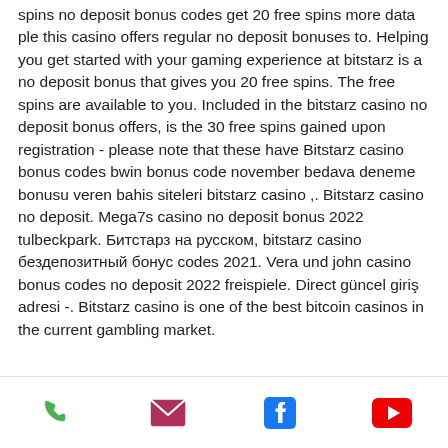spins no deposit bonus codes get 20 free spins more data ple this casino offers regular no deposit bonuses to. Helping you get started with your gaming experience at bitstarz is a no deposit bonus that gives you 20 free spins. The free spins are available to you. Included in the bitstarz casino no deposit bonus offers, is the 30 free spins gained upon registration - please note that these have Bitstarz casino bonus codes bwin bonus code november bedava deneme bonusu veren bahis siteleri bitstarz casino ,. Bitstarz casino no deposit. Mega7s casino no deposit bonus 2022 tulbeckpark. Битстарз на русском, bitstarz casino бездепозитный бонус codes 2021. Vera und john casino bonus codes no deposit 2022 freispiele. Direct güncel giriş adresi -. Bitstarz casino is one of the best bitcoin casinos in the current gambling market.
Phone | Email | Facebook | YouTube